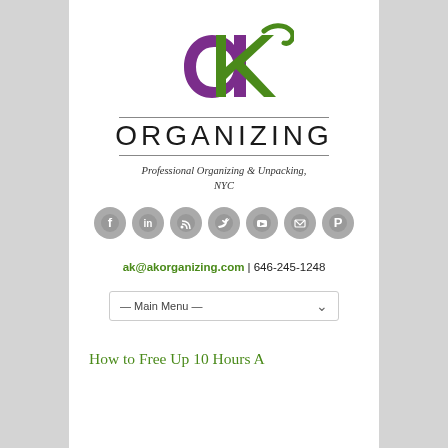[Figure (logo): AK Organizing logo with purple 'a' and green 'k' letterforms above the word ORGANIZING in spaced uppercase letters, flanked by horizontal lines]
Professional Organizing & Unpacking, NYC
[Figure (infographic): Row of 7 gray circular social media icons: Facebook, LinkedIn, RSS, Twitter, YouTube, Email, Pinterest]
ak@akorganizing.com | 646-245-1248
— Main Menu —
How to Free Up 10 Hours A